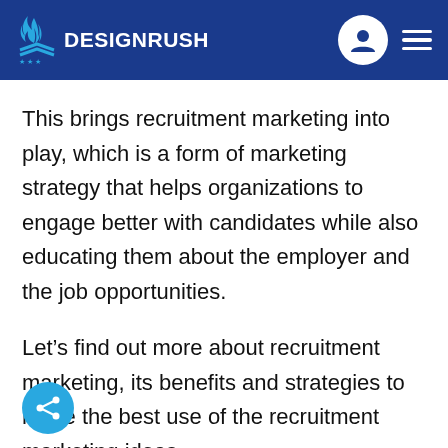DesignRush
This brings recruitment marketing into play, which is a form of marketing strategy that helps organizations to engage better with candidates while also educating them about the employer and the job opportunities.
Let’s find out more about recruitment marketing, its benefits and strategies to make the best use of the recruitment marketing ideas.